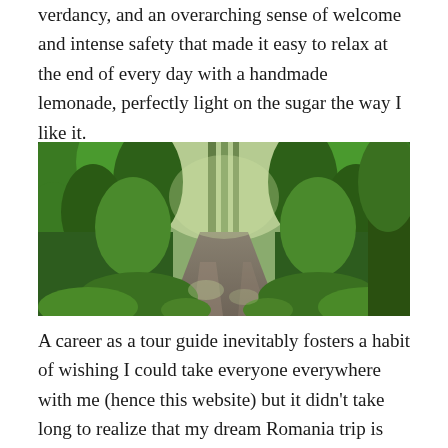verdancy, and an overarching sense of welcome and intense safety that made it easy to relax at the end of every day with a handmade lemonade, perfectly light on the sugar the way I like it.
[Figure (photo): A forest path or dirt road winding through lush green trees and dense forest vegetation, photographed in daylight.]
A career as a tour guide inevitably fosters a habit of wishing I could take everyone everywhere with me (hence this website) but it didn't take long to realize that my dream Romania trip is too good to leave as just a fantasy. With the help of a Romanian colleague and the folks at